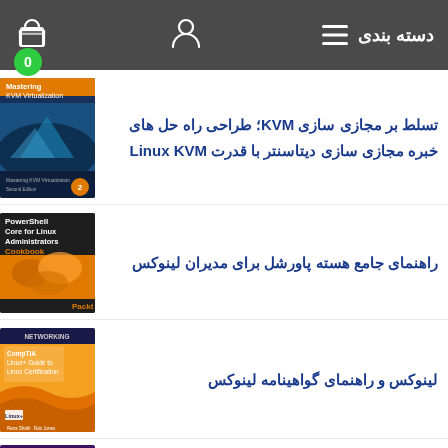دسته بندی
0
تسلط بر مجازی سازی KVM؛ طراحی راه حل های خبره مجازی سازی دیتاسنتر با قدرت Linux KVM
[Figure (photo): Book cover: Mastering KVM Virtualization Second Edition]
راهنمای جامع هسته پاورشل برای مدیران لینوکس
[Figure (photo): Book cover: PowerShell Core for Linux Administrators Cookbook]
لینوکس و راهنمای گواهینامه لینوکس
[Figure (photo): Book cover: CompTIA Linux+ Guide to Linux Certification]
[Figure (photo): Book cover: LINUX with Operating (partial)]